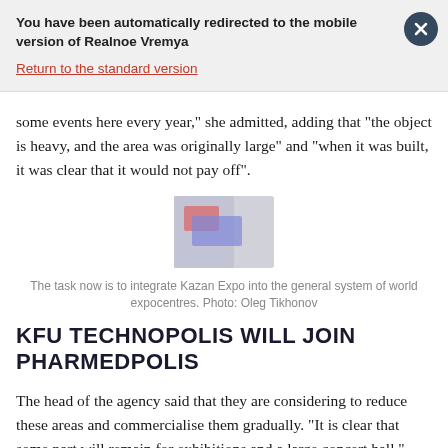You have been automatically redirected to the mobile version of Realnoe Vremya
Return to the standard version
some events here every year," she admitted, adding that “the object is heavy, and the area was originally large” and “when it was built, it was clear that it would not pay off”.
[Figure (photo): Blurred image thumbnail]
The task now is to integrate Kazan Expo into the general system of world expocentres. Photo: Oleg Tikhonov
KFU TECHNOPOLIS WILL JOIN PHARMEDPOLIS
The head of the agency said that they are considering to reduce these areas and commercialise them gradually. “It is clear that some part will remain for exhibitions and a large concert hall.” Talia Minullina reminded that a year ago, Pharmedopolis RT PLC received part of the area. As it is